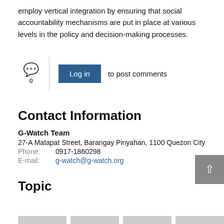employ vertical integration by ensuring that social accountability mechanisms are put in place at various levels in the policy and decision-making processes.
[Figure (other): Comment section UI element: chat bubble icon with count '0', vertical divider, blue 'Log in' button, and text 'to post comments']
Contact Information
G-Watch Team
27-A Matapat Street, Barangay Pinyahan, 1100 Quezon City
Phone: 0917-1860298
E-mail: g-watch@g-watch.org
Topic